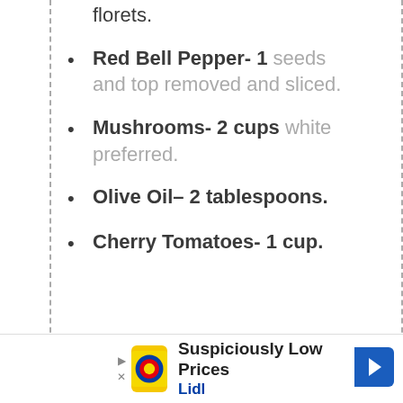florets.
Red Bell Pepper- 1 seeds and top removed and sliced.
Mushrooms- 2 cups white preferred.
Olive Oil– 2 tablespoons.
Cherry Tomatoes- 1 cup.
[Figure (other): Lidl advertisement banner: 'Suspiciously Low Prices' with Lidl logo and arrow icon]